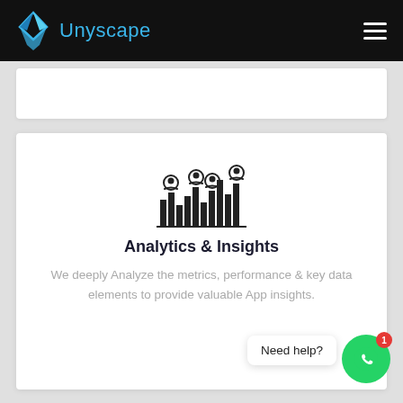Unyscape
[Figure (illustration): Analytics icon: bar chart with user/person icons on top of bars]
Analytics & Insights
We deeply Analyze the metrics, performance & key data elements to provide valuable App insights.